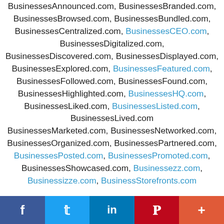BusinessesAnnounced.com, BusinessesBranded.com, BusinessesBrowsed.com, BusinessesBundled.com, BusinessesCentralized.com, BusinessesCEO.com, BusinessesDigitalized.com, BusinessesDiscovered.com, BusinessesDisplayed.com, BusinessesExplored.com, BusinessesFeatured.com, BusinessesFollowed.com, BusinessesFound.com, BusinessesHighlighted.com, BusinessesHQ.com, BusinessesLiked.com, BusinessesListed.com, BusinessesLived.com BusinessesMarketed.com, BusinessesNetworked.com, BusinessesOrganized.com, BusinessesPartnered.com, BusinessesPosted.com, BusinessesPromoted.com, BusinessesShowcased.com, Businessezz.com, Businessizze.com, BusinessStorefronts.com
Careizze.com, Categoriezz.com, Citiezz.com,
[Figure (other): Social media share bar with Facebook, Twitter, LinkedIn, Pinterest, and More buttons]